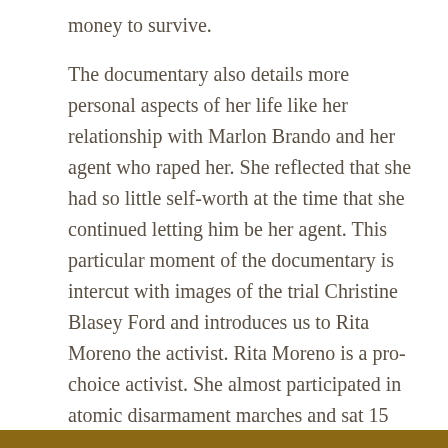money to survive.
The documentary also details more personal aspects of her life like her relationship with Marlon Brando and her agent who raped her. She reflected that she had so little self-worth at the time that she continued letting him be her agent. This particular moment of the documentary is intercut with images of the trial Christine Blasey Ford and introduces us to Rita Moreno the activist. Rita Moreno is a pro-choice activist. She almost participated in atomic disarmament marches and sat 15 feet away from Dr. King during his famous “I Have Dream Speech” at the March on Washington.